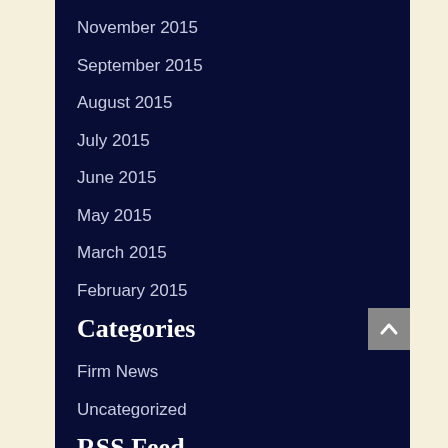November 2015
September 2015
August 2015
July 2015
June 2015
May 2015
March 2015
February 2015
Categories
Firm News
Uncategorized
RSS Feed
Subscribe To This Blog's Feed